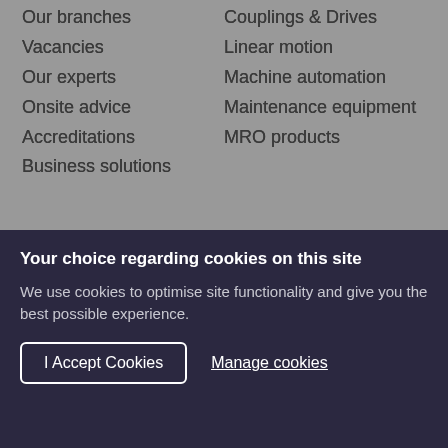Our branches
Couplings & Drives
Vacancies
Linear motion
Our experts
Machine automation
Onsite advice
Maintenance equipment
Accreditations
MRO products
Business solutions
CUSTOMER HELP
Tel: +44 (0)1709 789 933
Email us
LATEST ARTICLE
Introducing: Nadella AXNR Systems >
Your choice regarding cookies on this site
We use cookies to optimise site functionality and give you the best possible experience.
I Accept Cookies
Manage cookies